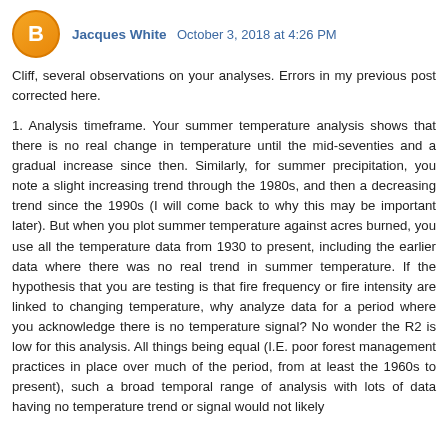Jacques White  October 3, 2018 at 4:26 PM
Cliff, several observations on your analyses. Errors in my previous post corrected here.
1. Analysis timeframe. Your summer temperature analysis shows that there is no real change in temperature until the mid-seventies and a gradual increase since then. Similarly, for summer precipitation, you note a slight increasing trend through the 1980s, and then a decreasing trend since the 1990s (I will come back to why this may be important later). But when you plot summer temperature against acres burned, you use all the temperature data from 1930 to present, including the earlier data where there was no real trend in summer temperature. If the hypothesis that you are testing is that fire frequency or fire intensity are linked to changing temperature, why analyze data for a period where you acknowledge there is no temperature signal? No wonder the R2 is low for this analysis. All things being equal (I.E. poor forest management practices in place over much of the period, from at least the 1960s to present), such a broad temporal range of analysis with lots of data having no temperature trend or signal would not likely